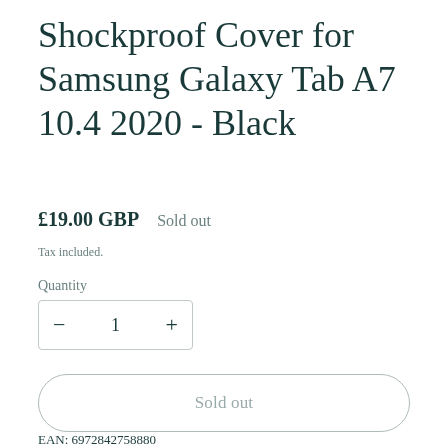Shockproof Cover for Samsung Galaxy Tab A7 10.4 2020 - Black
£19.00 GBP   Sold out
Tax included.
Quantity
− 1 +
Sold out
Share
EAN: 6972842758880